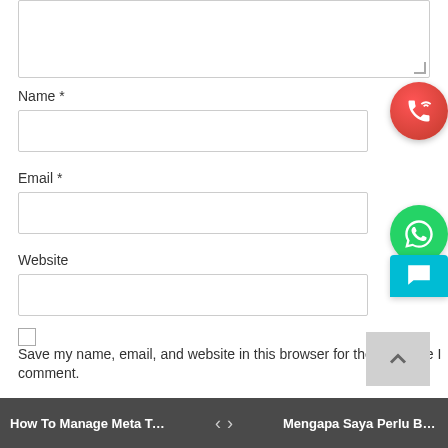[Figure (screenshot): A web comment form showing a textarea (partially visible at top), Name field with required asterisk and input box, Email field with required asterisk and input box, Website field and input box, a checkbox with save-info label text, a red circular phone button, a green circular WhatsApp button, a teal chat button, a grey back-to-top button, and a dark bottom navigation bar with previous/next post links.]
Name *
Email *
Website
Save my name, email, and website in this browser for the next time I comment.
How To Manage Meta Tags For ... < > Mengapa Saya Perlu Beli Insta...